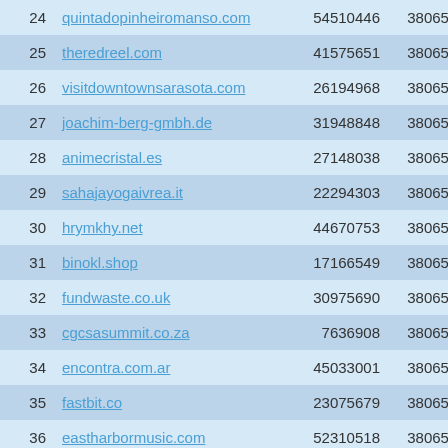| # | Domain | Col3 | Col4 |
| --- | --- | --- | --- |
| 24 | quintadopinheiromanso.com | 54510446 | 38065903 |
| 25 | theredreel.com | 41575651 | 38065904 |
| 26 | visitdowntownsarasota.com | 26194968 | 38065905 |
| 27 | joachim-berg-gmbh.de | 31948848 | 38065906 |
| 28 | animecristal.es | 27148038 | 38065907 |
| 29 | sahajayogaivrea.it | 22294303 | 38065908 |
| 30 | hrymkhy.net | 44670753 | 38065909 |
| 31 | binokl.shop | 17166549 | 38065910 |
| 32 | fundwaste.co.uk | 30975690 | 38065911 |
| 33 | cgcsasummit.co.za | 7636908 | 38065912 |
| 34 | encontra.com.ar | 45033001 | 38065913 |
| 35 | fastbit.co | 23075679 | 38065914 |
| 36 | eastharbormusic.com | 52310518 | 38065915 |
| 37 | integritynubians.com | 41899182 | 38065916 |
| 38 | justosh.com | 28652969 | 38065917 |